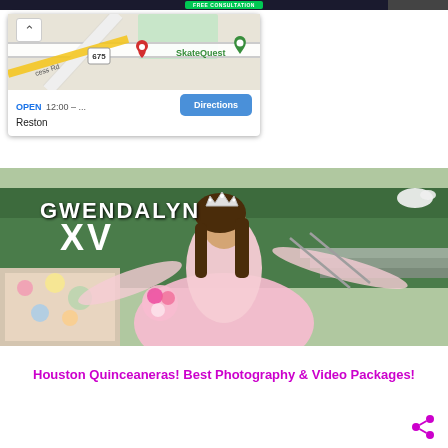[Figure (screenshot): Top dark navigation banner with green FREE CONSULTATION button and a right-side image strip]
[Figure (map): Google Maps card showing SkateQuest location in Reston, VA. Map shows road 675, princess road, red location pin and green SkateQuest pin. Shows OPEN 12:00 – ... hours, Reston label, and blue Directions button.]
[Figure (photo): Young woman in pink quinceañera dress and tiara, arms outstretched, smiling. Text overlay reads GWENDALYN XV in white bold letters. Outdoor setting with green hedges and steps.]
Houston Quinceaneras! Best Photography & Video Packages!
[Figure (other): Share icon (magenta/pink network share symbol) at bottom right]